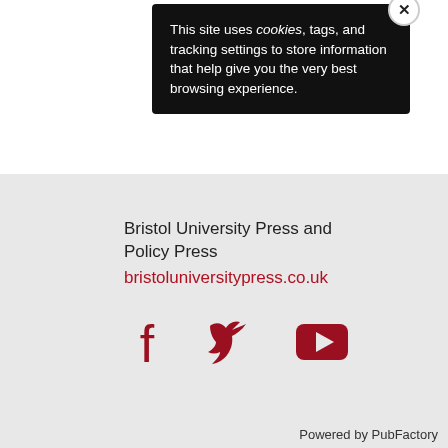[Figure (logo): Bristol University Press red circular logo with white letter B]
This site uses cookies, tags, and tracking settings to store information that help give you the very best browsing experience.
Bristol University Press and Policy Press
bristoluniversitypress.co.uk
[Figure (infographic): Social media icons: Facebook, Twitter, YouTube in dark red]
Powered by PubFactory